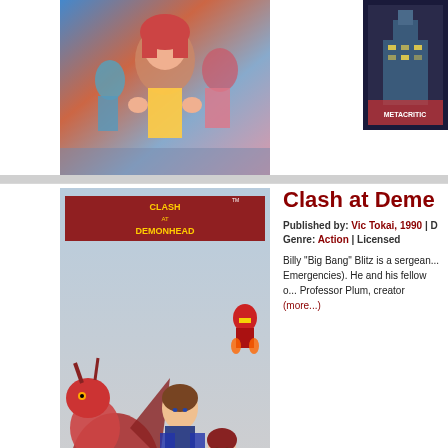[Figure (photo): Game cover art partially visible at top - colorful animated characters]
[Figure (photo): Small cover image on the right side, dark background with text]
Clash at Demonhead
Published by: Vic Tokai, 1990 | D...
Genre: Action | Licensed
Billy "Big Bang" Blitz is a sergeant... Emergencies). He and his fellow o... Professor Plum, creator (more...)
[Figure (photo): Clash at Demonhead game cover art showing warrior characters and dragon]
Classic Concert
Published by: Gametek, 1990 | De...
Genre: Game Show | Licensed
One at a time, the contestants calle... opponent took a turn. However, if...